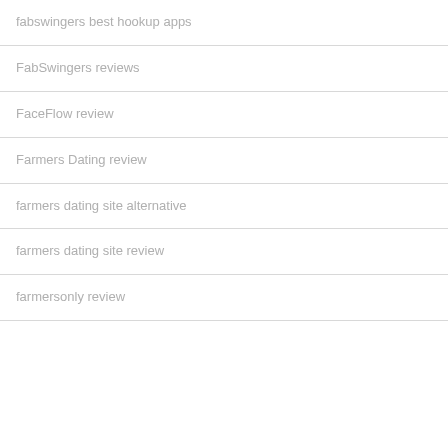fabswingers best hookup apps
FabSwingers reviews
FaceFlow review
Farmers Dating review
farmers dating site alternative
farmers dating site review
farmersonly review